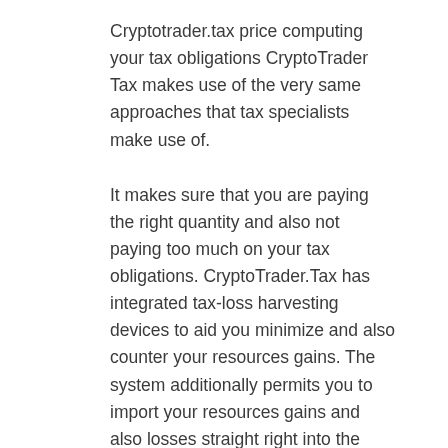Cryptotrader.tax price computing your tax obligations CryptoTrader Tax makes use of the very same approaches that tax specialists make use of.
It makes sure that you are paying the right quantity and also not paying too much on your tax obligations. CryptoTrader.Tax has integrated tax-loss harvesting devices to aid you minimize and also counter your resources gains. The system additionally permits you to import your resources gains and also losses straight right into the online or desktop computer variations of TurboTax and also various other tax systems.